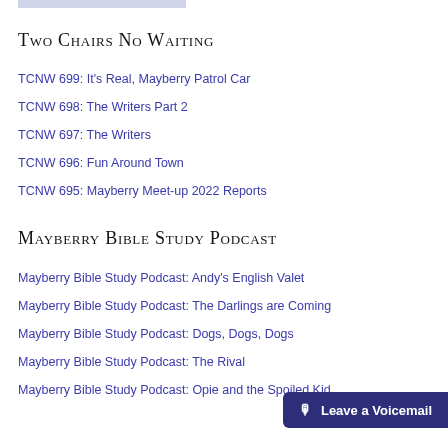[Figure (other): Light gray/blue rectangular bar at top of page]
Two Chairs No Waiting
TCNW 699: It's Real, Mayberry Patrol Car
TCNW 698: The Writers Part 2
TCNW 697: The Writers
TCNW 696: Fun Around Town
TCNW 695: Mayberry Meet-up 2022 Reports
Mayberry Bible Study Podcast
Mayberry Bible Study Podcast: Andy's English Valet
Mayberry Bible Study Podcast: The Darlings are Coming
Mayberry Bible Study Podcast: Dogs, Dogs, Dogs
Mayberry Bible Study Podcast: The Rival
Mayberry Bible Study Podcast: Opie and the Spoiled Kid